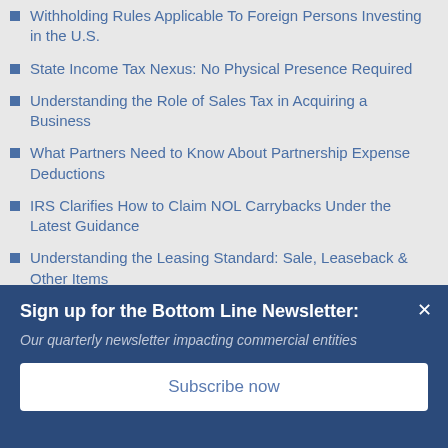Withholding Rules Applicable To Foreign Persons Investing in the U.S.
State Income Tax Nexus: No Physical Presence Required
Understanding the Role of Sales Tax in Acquiring a Business
What Partners Need to Know About Partnership Expense Deductions
IRS Clarifies How to Claim NOL Carrybacks Under the Latest Guidance
Understanding the Leasing Standard: Sale, Leaseback & Other Items
Revenue Recognition Step 5 - Recognizing Revenue as
Sign up for the Bottom Line Newsletter:
Our quarterly newsletter impacting commercial entities
Subscribe now